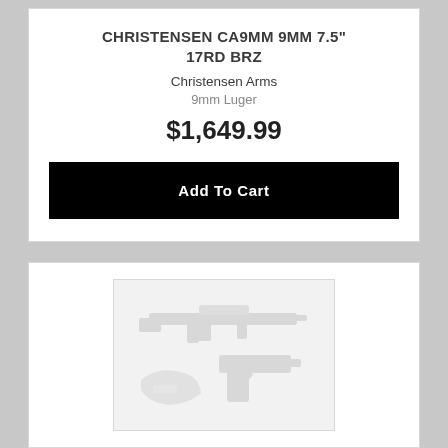CHRISTENSEN CA9MM 9MM 7.5" 17RD BRZ
Christensen Arms
9mm Luger
$1,649.99
Add To Cart
[Figure (illustration): Placeholder image showing silhouettes of a rifle, a pistol, and a gun part on a light grey background]